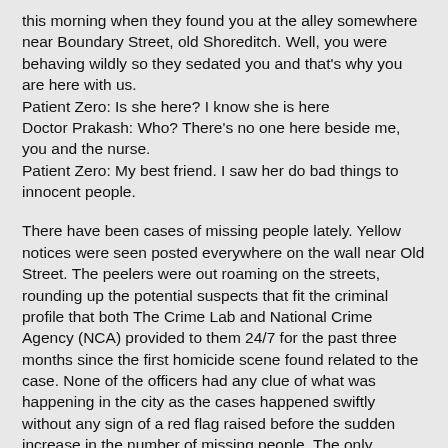this morning when they found you at the alley somewhere near Boundary Street, old Shoreditch. Well, you were behaving wildly so they sedated you and that's why you are here with us.
Patient Zero: Is she here? I know she is here
Doctor Prakash: Who? There's no one here beside me, you and the nurse.
Patient Zero: My best friend. I saw her do bad things to innocent people.
There have been cases of missing people lately. Yellow notices were seen posted everywhere on the wall near Old Street. The peelers were out roaming on the streets, rounding up the potential suspects that fit the criminal profile that both The Crime Lab and National Crime Agency (NCA) provided to them 24/7 for the past three months since the first homicide scene found related to the case. None of the officers had any clue of what was happening in the city as the cases happened swiftly without any sign of a red flag raised before the sudden increase in the number of missing people. The only extrapolation that the peelers made was that these lost souls weren't national patriots, but might be cowards who ran away. Jack from the crime lab objected to such judgemental hypotheses that provoked a